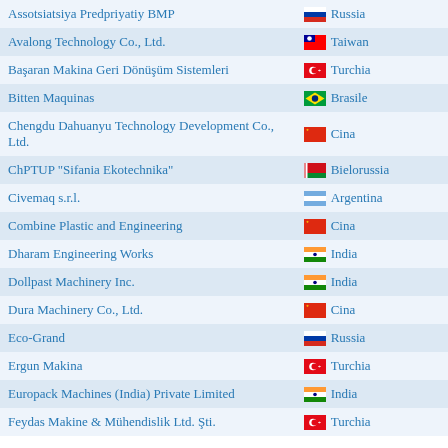| Company | Country |
| --- | --- |
| Assotsiatsiya Predpriyatiy BMP | Russia |
| Avalong Technology Co., Ltd. | Taiwan |
| Başaran Makina Geri Dönüşüm Sistemleri | Turchia |
| Bitten Maquinas | Brasile |
| Chengdu Dahuanyu Technology Development Co., Ltd. | Cina |
| ChPTUP "Sifania Ekotechnika" | Bielorussia |
| Civemaq s.r.l. | Argentina |
| Combine Plastic and Engineering | Cina |
| Dharam Engineering Works | India |
| Dollpast Machinery Inc. | India |
| Dura Machinery Co., Ltd. | Cina |
| Eco-Grand | Russia |
| Ergun Makina | Turchia |
| Europack Machines (India) Private Limited | India |
| Feydas Makine & Mühendislik Ltd. Şti. | Turchia |